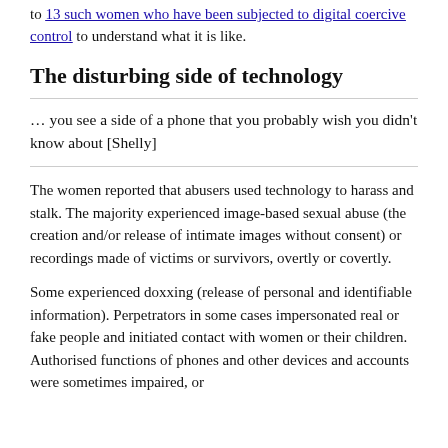to 13 such women who have been subjected to digital coercive control to understand what it is like.
The disturbing side of technology
… you see a side of a phone that you probably wish you didn't know about [Shelly]
The women reported that abusers used technology to harass and stalk. The majority experienced image-based sexual abuse (the creation and/or release of intimate images without consent) or recordings made of victims or survivors, overtly or covertly.
Some experienced doxxing (release of personal and identifiable information). Perpetrators in some cases impersonated real or fake people and initiated contact with women or their children. Authorised functions of phones and other devices and accounts were sometimes impaired, or